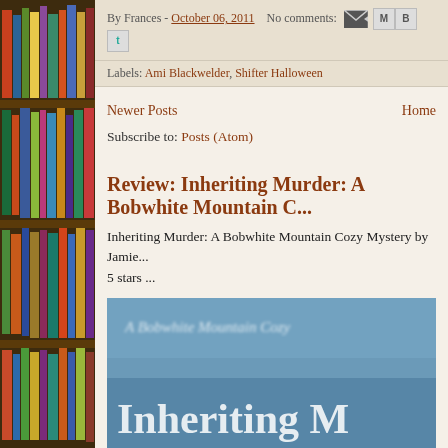[Figure (photo): Bookshelf with colorful book spines on the left sidebar]
By Frances - October 06, 2011   No comments:
Labels: Ami Blackwelder, Shifter Halloween
Newer Posts   Home
Subscribe to: Posts (Atom)
Review: Inheriting Murder: A Bobwhite Mountain C...
Inheriting Murder: A Bobwhite Mountain Cozy Mystery by Jamie... 5 stars ...
[Figure (photo): Book cover image for Inheriting Murder: A Bobwhite Mountain Cozy Mystery, showing text on a blue background]